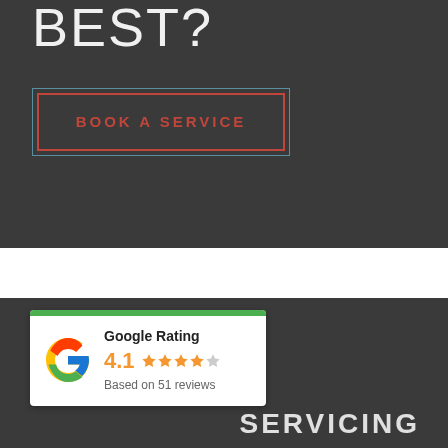BEST?
BOOK A SERVICE
[Figure (logo): Google Rating card with Google G logo, rating 4.1, 4 filled stars and 1 empty star, Based on 51 reviews]
SERVICING